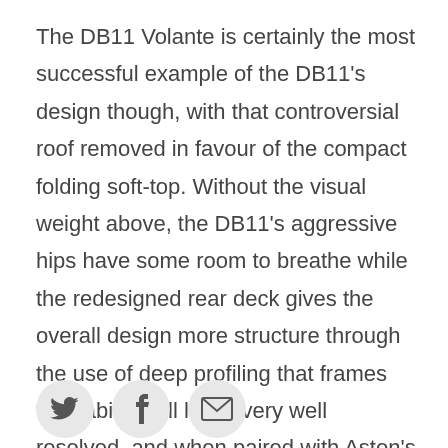The DB11 Volante is certainly the most successful example of the DB11's design though, with that controversial roof removed in favour of the compact folding soft-top. Without the visual weight above, the DB11's aggressive hips have some room to breathe while the redesigned rear deck gives the overall design more structure through the use of deep profiling that frames the cabin. It all looks very well resolved, and when paired with Aston's flamboyant interior finishes is every bit as glamorous as one would expect of a drop-top Aston Martin.
[Figure (other): Three social sharing icon buttons: Twitter bird icon, Facebook 'f' icon, and envelope/email icon, each in a light grey circle]